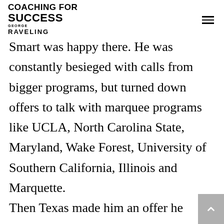COACHING FOR SUCCESS GEORGE RAVELING
Smart was happy there. He was constantly besieged with calls from bigger programs, but turned down offers to talk with marquee programs like UCLA, North Carolina State, Maryland, Wake Forest, University of Southern California, Illinois and Marquette.

Then Texas made him an offer he